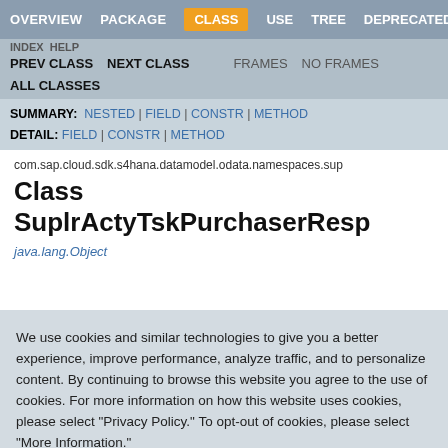OVERVIEW | PACKAGE | CLASS | USE | TREE | DEPRECATED
INDEX  HELP
PREV CLASS  NEXT CLASS  FRAMES  NO FRAMES
ALL CLASSES
SUMMARY: NESTED | FIELD | CONSTR | METHOD
DETAIL: FIELD | CONSTR | METHOD
com.sap.cloud.sdk.s4hana.datamodel.odata.namespaces.sup
Class SuplrActyTskPurchaserResp
java.lang.Object
We use cookies and similar technologies to give you a better experience, improve performance, analyze traffic, and to personalize content. By continuing to browse this website you agree to the use of cookies. For more information on how this website uses cookies, please select "Privacy Policy." To opt-out of cookies, please select "More Information."
Accept Cookies
More Information
Privacy Policy | Powered by:  TrustArc